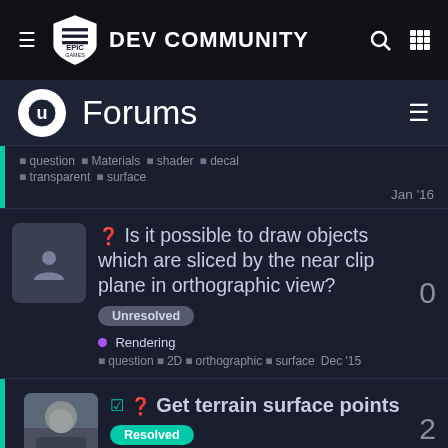EPIC GAMES DEV COMMUNITY
Forums
question  Materials  shader  decal  transparent  surface  Jan '16
Is it possible to draw objects which are sliced by the near clip plane in orthographic view? Unresolved  Rendering  question  2D  orthographic  surface  Dec '15
Get terrain surface points  Resolved  World Creation